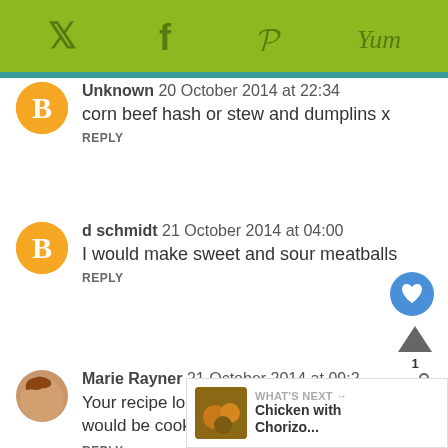[Figure (other): Social sharing bar with Twitter, Facebook, Pinterest, and Yummly icons on olive/green background]
Unknown 20 October 2014 at 22:34
corn beef hash or stew and dumplins x
REPLY
d schmidt 21 October 2014 at 04:00
I would make sweet and sour meatballs
REPLY
Marie Rayner 21 October 2014 at 09:2
Your recipe looks delicious Jan! I thi... I would be cooking this! Fabulo...
REPLY
WHAT'S NEXT → Chicken with Chorizo...